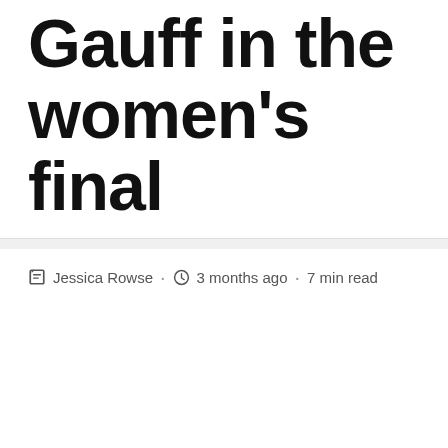Gauff in the women's final
Jessica Rowse · 3 months ago · 7 min read
PARIS – After two weeks playing for Roland Garros, the